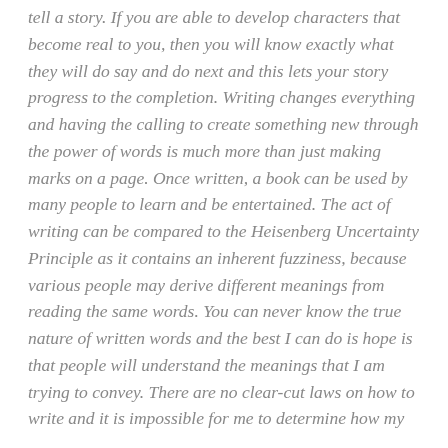tell a story. If you are able to develop characters that become real to you, then you will know exactly what they will do say and do next and this lets your story progress to the completion. Writing changes everything and having the calling to create something new through the power of words is much more than just making marks on a page. Once written, a book can be used by many people to learn and be entertained. The act of writing can be compared to the Heisenberg Uncertainty Principle as it contains an inherent fuzziness, because various people may derive different meanings from reading the same words. You can never know the true nature of written words and the best I can do is hope is that people will understand the meanings that I am trying to convey. There are no clear-cut laws on how to write and it is impossible for me to determine how my